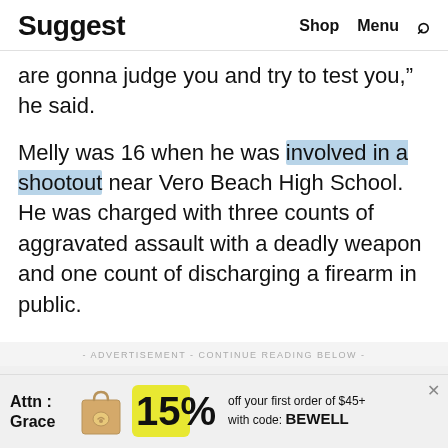Suggest  Shop  Menu
are gonna judge you and try to test you,” he said.
Melly was 16 when he was involved in a shootout near Vero Beach High School. He was charged with three counts of aggravated assault with a deadly weapon and one count of discharging a firearm in public.
- ADVERTISEMENT - CONTINUE READING BELOW -
[Figure (other): Advertisement banner: Attn: Grace brand with shopping bag illustration, '15% off your first order of $45+ with code: BEWELL']